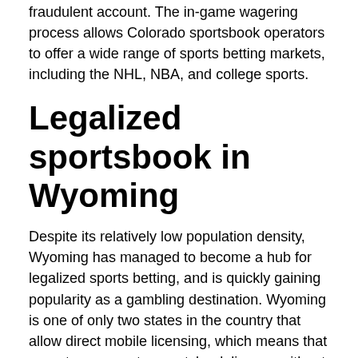reporting policy to their regulators if it detects a potentially fraudulent account. The in-game wagering process allows Colorado sportsbook operators to offer a wide range of sports betting markets, including the NHL, NBA, and college sports.
Legalized sportsbook in Wyoming
Despite its relatively low population density, Wyoming has managed to become a hub for legalized sports betting, and is quickly gaining popularity as a gambling destination. Wyoming is one of only two states in the country that allow direct mobile licensing, which means that operators can get a sportsbook license without a casino license. Because of this, sportsbooks are now expanding their markets in Wyoming. Fortunately for sports fans in the state, Wyoming has several sportsbooks, and players can expect to find plenty of choices.